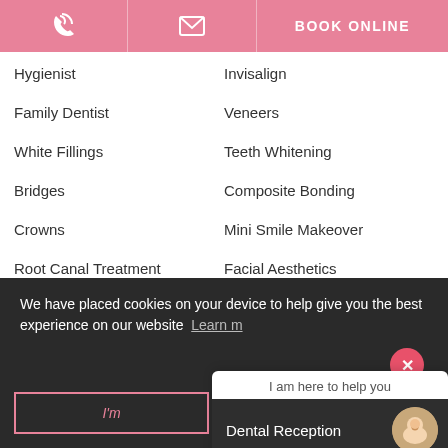BOOK ONLINE
Hygienist
Invisalign
Family Dentist
Veneers
White Fillings
Teeth Whitening
Bridges
Composite Bonding
Crowns
Mini Smile Makeover
Root Canal Treatment
Facial Aesthetics
Dental Emergency
We have placed cookies on your device to help give you the best experience on our website Learn more
I'm happy
I am here to help you
Dental Reception